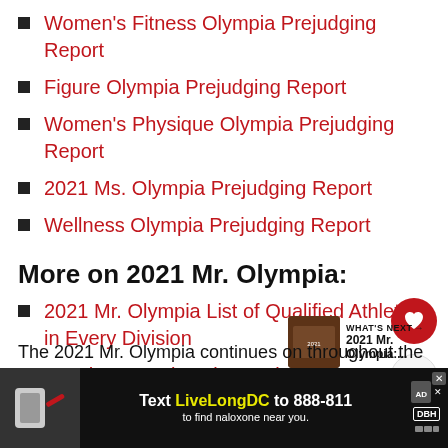Women's Fitness Olympia Prejudging Report
Figure Olympia Prejudging Report
Women's Physique Olympia Prejudging Report
2021 Ms. Olympia Prejudging Report
Wellness Olympia Prejudging Report
More on 2021 Mr. Olympia:
2021 Mr. Olympia List of Qualified Athletes in Every Division
Watch 2021 Olympia Weekend
The 2021 Mr. Olympia continues on throughout the weekend, with prejudging going on throughout
[Figure (screenshot): Advertisement banner: Text LiveLongDC to 888-811 to find naloxone near you.]